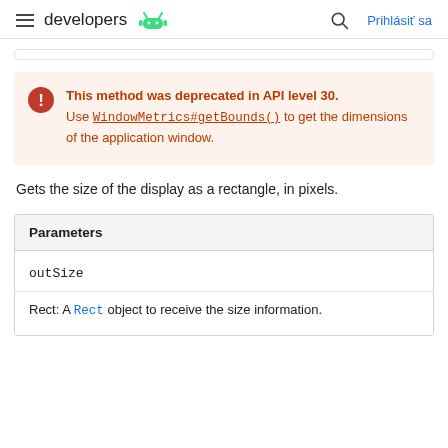≡ developers 🤖  🔍  Prihlásiť sa
This method was deprecated in API level 30. Use WindowMetrics#getBounds() to get the dimensions of the application window.
Gets the size of the display as a rectangle, in pixels.
| Parameters |
| --- |
| outSize |
| Rect: A Rect object to receive the size information. |
Rect: A Rect object to receive the size information.